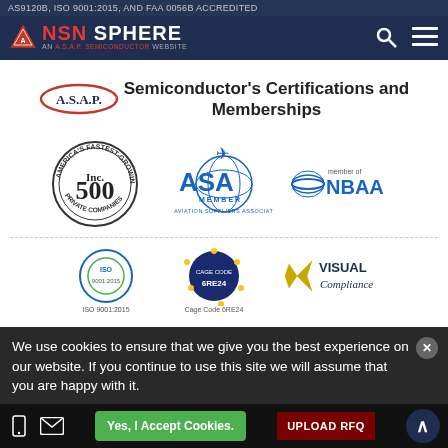AS9120B, ISO 9001:2015, AND FAA 0056B ACCREDITED
[Figure (logo): NSN Sphere logo - An A.S.A.P. Semiconductor Website]
A.S.A.P. Semiconductor's Certifications and Memberships
[Figure (logo): Inc. 500 America's Fastest-Growing Private Companies badge]
[Figure (logo): ASA Member - Aviation Suppliers Association logo]
[Figure (logo): NBAA member of logo]
[Figure (logo): ISO 9001:2015 certification logo]
[Figure (logo): Cage Code 6RE24 seal]
[Figure (logo): Visual Compliance logo]
We use cookies to ensure that we give you the best experience on our website. If you continue to use this site we will assume that you are happy with it.
Yes, I Accept Cookies.
UPLOAD RFQ